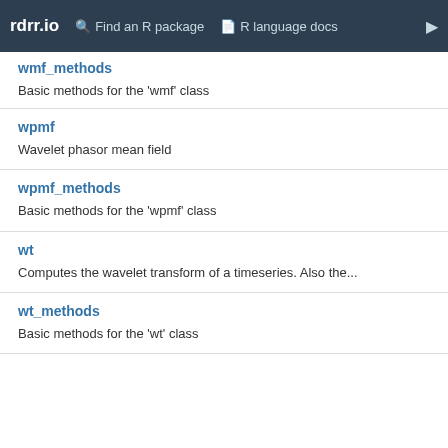rdrr.io  Find an R package  R language docs
wmf_methods
Basic methods for the 'wmf' class
wpmf
Wavelet phasor mean field
wpmf_methods
Basic methods for the 'wpmf' class
wt
Computes the wavelet transform of a timeseries. Also the...
wt_methods
Basic methods for the 'wt' class